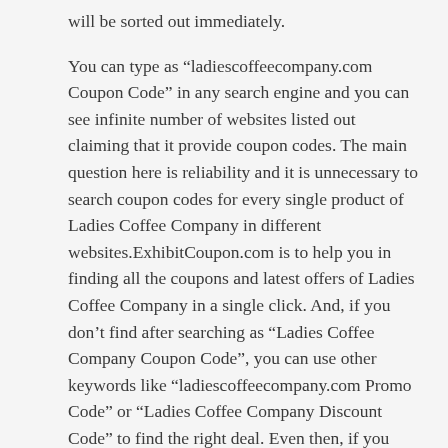will be sorted out immediately.
You can type as “ladiescoffeecompany.com Coupon Code” in any search engine and you can see infinite number of websites listed out claiming that it provide coupon codes. The main question here is reliability and it is unnecessary to search coupon codes for every single product of Ladies Coffee Company in different websites.ExhibitCoupon.com is to help you in finding all the coupons and latest offers of Ladies Coffee Company in a single click. And, if you don’t find after searching as “Ladies Coffee Company Coupon Code”, you can use other keywords like “ladiescoffeecompany.com Promo Code” or “Ladies Coffee Company Discount Code” to find the right deal. Even then, if you don’t find, wait for some time and you will definitely get offers within few days or even in a minute. One thing we say with pride is “If you don’t find here, you will not find anywhere”!